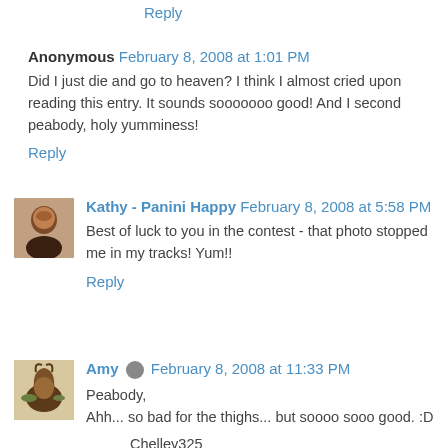Reply
Anonymous  February 8, 2008 at 1:01 PM
Did I just die and go to heaven? I think I almost cried upon reading this entry. It sounds sooooooo good! And I second peabody, holy yumminess!
Reply
Kathy - Panini Happy  February 8, 2008 at 5:58 PM
Best of luck to you in the contest - that photo stopped me in my tracks! Yum!!
Reply
Amy  February 8, 2008 at 11:33 PM
Peabody,
Ahh... so bad for the thighs... but soooo sooo good. :D
Chelley325